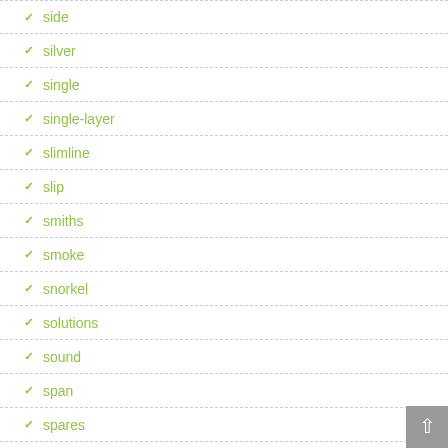side
silver
single
single-layer
slimline
slip
smiths
smoke
snorkel
solutions
sound
span
spares
spares-or